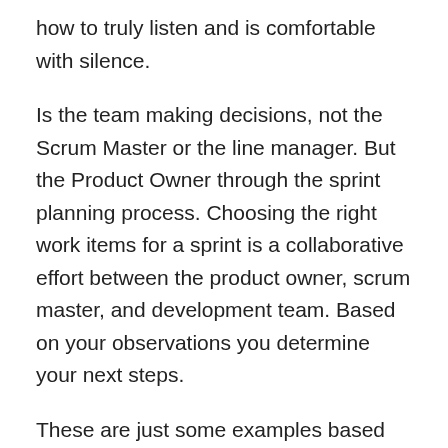how to truly listen and is comfortable with silence.
Is the team making decisions, not the Scrum Master or the line manager. But the Product Owner through the sprint planning process. Choosing the right work items for a sprint is a collaborative effort between the product owner, scrum master, and development team. Based on your observations you determine your next steps.
These are just some examples based on the Scrum training I've attended. Can you rotate the Scrum Master role. Furthermore, it is my opinion that a manager is necessary when the full team is not experienced enough.